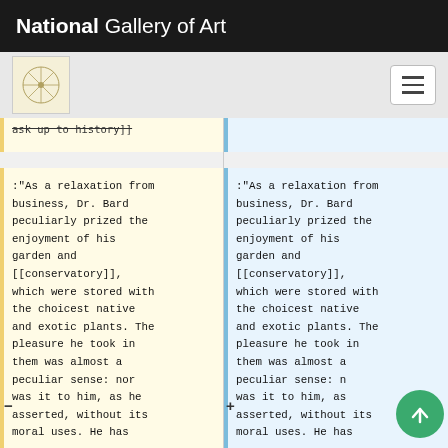National Gallery of Art
[Figure (logo): National Gallery of Art navigation bar with emblem and hamburger menu]
ask up to history]]
:"As a relaxation from business, Dr. Bard peculiarly prized the enjoyment of his garden and [[conservatory]], which were stored with the choicest native and exotic plants. The pleasure he took in them was almost a peculiar sense: nor was it to him, as he asserted, without its moral uses. He has
:"As a relaxation from business, Dr. Bard peculiarly prized the enjoyment of his garden and [[conservatory]], which were stored with the choicest native and exotic plants. The pleasure he took in them was almost a peculiar sense: nor was it to him, as he asserted, without its moral uses. He has